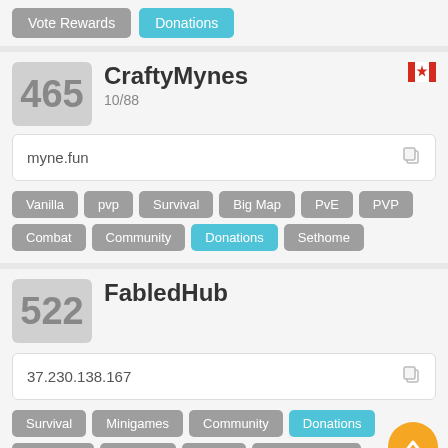Vote Rewards | Donations
465 CraftyMynes 10/88
myne.fun
Vanilla pvp Survival Big Map PvE PVP Combat Community Donations Sethome
522 FabledHub
37.230.138.167
Survival Minigames Community Donations Economy Free Fly Voting Vote Rewards